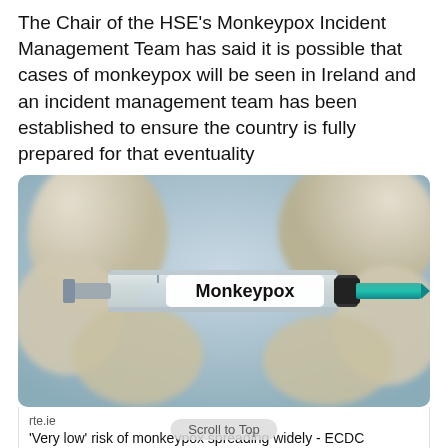The Chair of the HSE's Monkeypox Incident Management Team has said it is possible that cases of monkeypox will be seen in Ireland and an incident management team has been established to ensure the country is fully prepared for that eventuality
[Figure (photo): Close-up photo of gloved hands holding a syringe with a label reading 'Monkeypox']
rte.ie
'Very low' risk of monkeypox spreading widely - ECDC